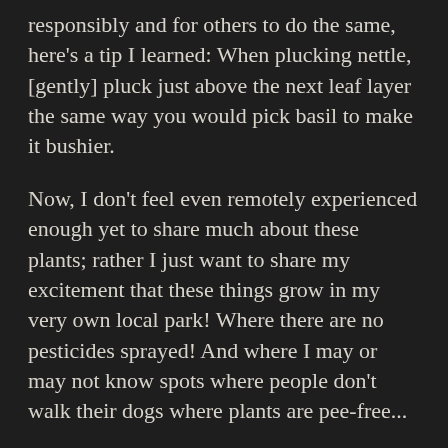responsibly and for others to do the same, here’s a tip I learned: When plucking nettle, [gently] pluck just above the next leaf layer the same way you would pick basil to make it bushier.
Now, I don’t feel even remotely experienced enough yet to share much about these plants; rather I just want to share my excitement that these things grow in my very own local park! Where there are no pesticides sprayed! And where I may or may not know spots where people don’t walk their dogs where plants are pee-free...